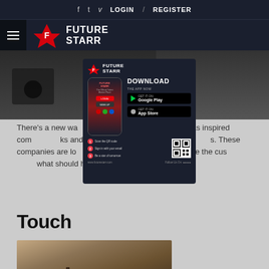f  t  v  LOGIN / REGISTER
[Figure (logo): FutureStarr logo with hamburger menu and star icon]
[Figure (photo): Partial car interior image at top of page]
[Figure (infographic): FutureStarr app download popup with phone mockup, Google Play and App Store buttons, QR code, and steps]
There's a new wa...ce. A wave that has inspired com...ks and Amazon to adapt custome...s. These companies are lo...xperiences that will leave the cus...what should happen next for them.
Touch
[Figure (photo): Wooden chess board with chess pieces, partially visible at bottom of page]